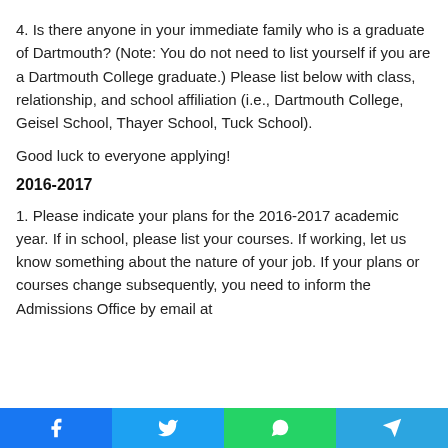4. Is there anyone in your immediate family who is a graduate of Dartmouth? (Note: You do not need to list yourself if you are a Dartmouth College graduate.) Please list below with class, relationship, and school affiliation (i.e., Dartmouth College, Geisel School, Thayer School, Tuck School).
Good luck to everyone applying!
2016-2017
1. Please indicate your plans for the 2016-2017 academic year. If in school, please list your courses. If working, let us know something about the nature of your job. If your plans or courses change subsequently, you need to inform the Admissions Office by email at
[Figure (other): Social media share buttons bar at bottom: Facebook (blue), Twitter (light blue), WhatsApp (green), Telegram (blue)]